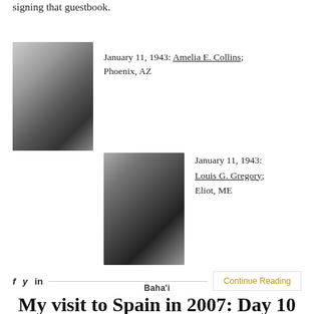signing that guestbook.
[Figure (photo): Black and white portrait photo of Amelia E. Collins, an elderly white woman with glasses and short white/grey hair, wearing dark clothing.]
January 11, 1943: Amelia E. Collins; Phoenix, AZ
[Figure (photo): Black and white portrait photo of Louis G. Gregory, an African-American man wearing glasses, suit and tie.]
January 11, 1943: Louis G. Gregory; Eliot, ME
f  y  in  Continue Reading
Baha'i
My visit to Spain in 2007: Day 10